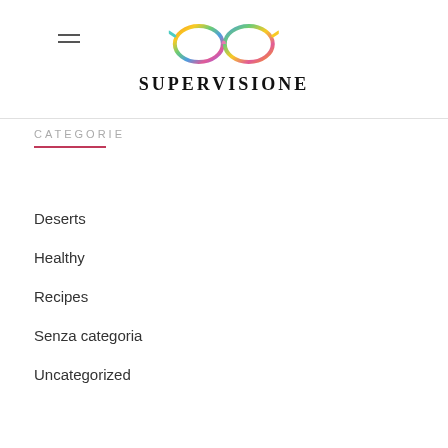[Figure (logo): Colorful glasses logo with multicolored frames above the text SUPERVISIONE]
SUPERVISIONE
CATEGORIE
Deserts
Healthy
Recipes
Senza categoria
Uncategorized